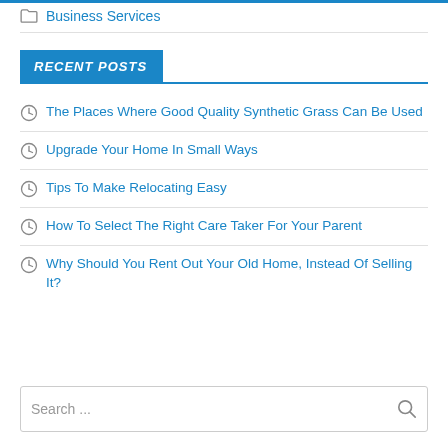Business Services
RECENT POSTS
The Places Where Good Quality Synthetic Grass Can Be Used
Upgrade Your Home In Small Ways
Tips To Make Relocating Easy
How To Select The Right Care Taker For Your Parent
Why Should You Rent Out Your Old Home, Instead Of Selling It?
Search ...